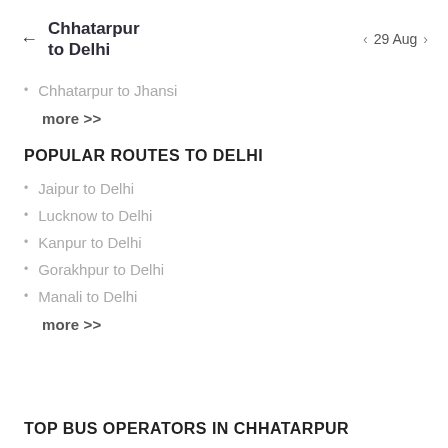Chhatarpur to Delhi
29 Aug
Chhatarpur to Jhansi
more >>
POPULAR ROUTES TO DELHI
Jaipur to Delhi
Lucknow to Delhi
Kanpur to Delhi
Gorakhpur to Delhi
Manali to Delhi
more >>
TOP BUS OPERATORS IN CHHATARPUR